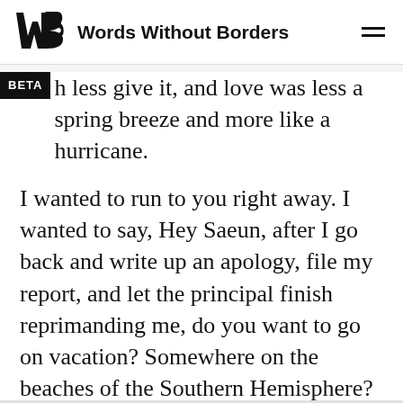Words Without Borders
h less give it, and love was less a spring breeze and more like a hurricane.
I wanted to run to you right away. I wanted to say, Hey Saeun, after I go back and write up an apology, file my report, and let the principal finish reprimanding me, do you want to go on vacation? Somewhere on the beaches of the Southern Hemisphere? We can build castles in the white sand and drink coconut milk. At night we can sneak into the hotel bar and have cocktails. Like we're adults. We'll forget about everything else. I tated, and opened my mouth.